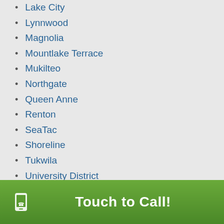Lake City
Lynnwood
Magnolia
Mountlake Terrace
Mukilteo
Northgate
Queen Anne
Renton
SeaTac
Shoreline
Tukwila
University District
West Seattle
Bellevue Neighborhoods:
Bothell
Bridle Trails
Touch to Call!